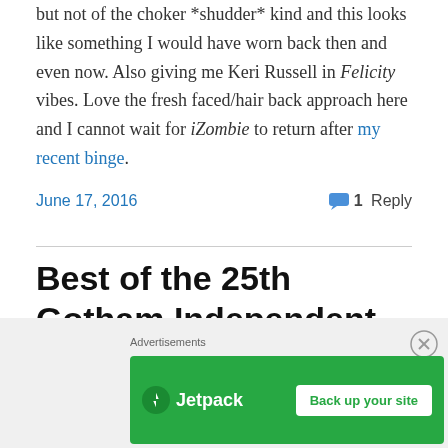but not of the choker *shudder* kind and this looks like something I would have worn back then and even now. Also giving me Keri Russell in Felicity vibes. Love the fresh faced/hair back approach here and I cannot wait for iZombie to return after my recent binge.
June 17, 2016   💬 1 Reply
Best of the 25th Gotham Independent Film Awards Red Carpet
[Figure (other): Jetpack advertisement banner with green background, Jetpack logo on left, and 'Back up your site' button on right. Above the banner is an 'Advertisements' label and a close button (X) in the upper right area of the ad region.]